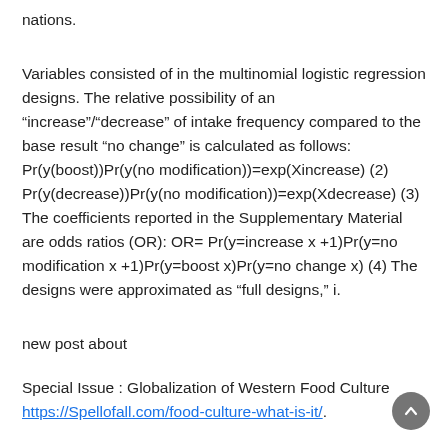nations.
Variables consisted of in the multinomial logistic regression designs. The relative possibility of an “increase”/“decrease” of intake frequency compared to the base result “no change” is calculated as follows: Pr(y(boost))Pr(y(no modification))=exp(Xincrease) (2) Pr(y(decrease))Pr(y(no modification))=exp(Xdecrease) (3) The coefficients reported in the Supplementary Material are odds ratios (OR): OR= Pr(y=increase x +1)Pr(y=no modification x +1)Pr(y=boost x)Pr(y=no change x) (4) The designs were approximated as “full designs,” i.
new post about
Special Issue : Globalization of Western Food Culture https://Spellofall.com/food-culture-what-is-it/.